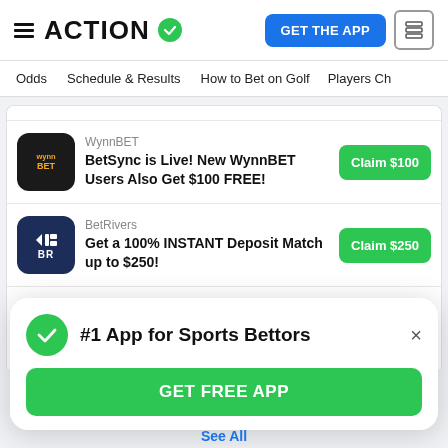ACTION
GET THE APP
Odds  Schedule & Results  How to Bet on Golf  Players Ch
WynnBET
BetSync is Live! New WynnBET Users Also Get $100 FREE!
Claim $100
BetRivers
Get a 100% INSTANT Deposit Match up to $250!
Claim $250
FanDuel
Bet $5 and Get $150 FREE - Guaranteed!
Claim $150
#1 App for Sports Bettors
GET FREE APP
See All